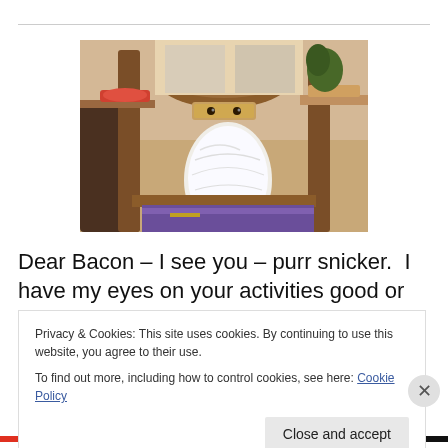[Figure (photo): A white fluffy cat sitting on a chair at a dining table, viewed from behind, with its eyes just visible through the chair back slats. Wooden chair and table visible, with colorful items on the table.]
Dear Bacon – I see you – purr snicker.  I have my eyes on your activities good or bad.  I'm reporting back to that Evil
Privacy & Cookies: This site uses cookies. By continuing to use this website, you agree to their use.
To find out more, including how to control cookies, see here: Cookie Policy